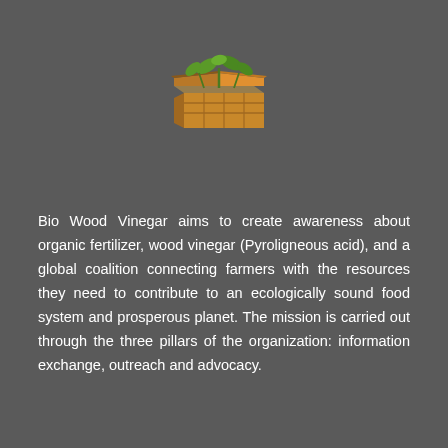[Figure (logo): Wooden crate box with green plant sprouts growing out of the top, illustrated icon for Bio Wood Vinegar]
Bio Wood Vinegar aims to create awareness about organic fertilizer, wood vinegar (Pyroligneous acid), and a global coalition connecting farmers with the resources they need to contribute to an ecologically sound food system and prosperous planet. The mission is carried out through the three pillars of the organization: information exchange, outreach and advocacy.